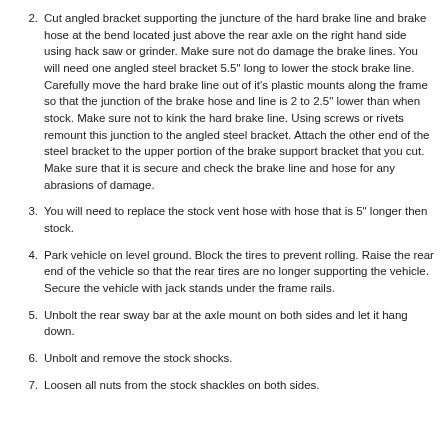2. Cut angled bracket supporting the juncture of the hard brake line and brake hose at the bend located just above the rear axle on the right hand side using hack saw or grinder. Make sure not do damage the brake lines. You will need one angled steel bracket 5.5" long to lower the stock brake line. Carefully move the hard brake line out of it's plastic mounts along the frame so that the junction of the brake hose and line is 2 to 2.5" lower than when stock. Make sure not to kink the hard brake line. Using screws or rivets remount this junction to the angled steel bracket. Attach the other end of the steel bracket to the upper portion of the brake support bracket that you cut. Make sure that it is secure and check the brake line and hose for any abrasions of damage.
3. You will need to replace the stock vent hose with hose that is 5" longer then stock.
4. Park vehicle on level ground. Block the tires to prevent rolling. Raise the rear end of the vehicle so that the rear tires are no longer supporting the vehicle. Secure the vehicle with jack stands under the frame rails.
5. Unbolt the rear sway bar at the axle mount on both sides and let it hang down.
6. Unbolt and remove the stock shocks.
7. Loosen all nuts from the stock shackles on both sides.